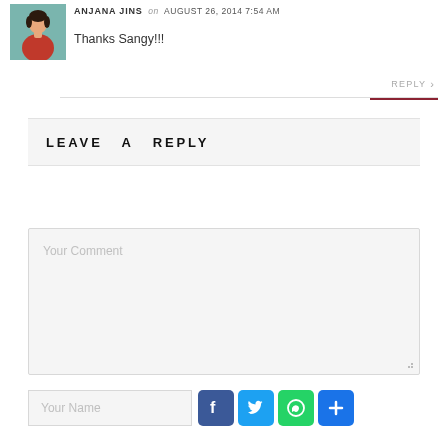[Figure (photo): Avatar photo of Anjana Jins, a woman in a red dress, teal/green background]
ANJANA JINS on AUGUST 26, 2014 7:54 AM
Thanks Sangy!!!
REPLY >
LEAVE A REPLY
Your Comment
Your Name
[Figure (screenshot): Social sharing icons row: Facebook (blue F), Twitter (blue bird), WhatsApp (green phone), Plus/share (blue +)]